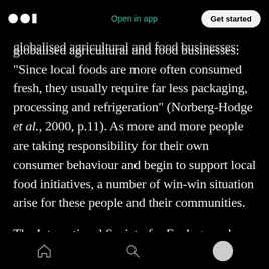Medium logo | Open in app | Get started
globalised agricultural and food businesses: “Since local foods are more often consumed fresh, they usually require far less packaging, processing and refrigeration” (Norberg-Hodge et al., 2000, p.11). As more and more people are taking responsibility for their own consumer behaviour and begin to support local food initiatives, a number of win-win situation arise for these people and their communities.

The International Society for Ecology and Culture has been a leading advocate of the
Home | Search | Profile